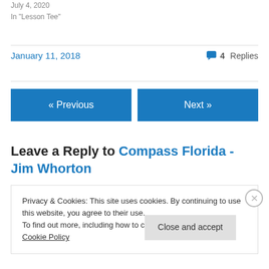July 4, 2020
In "Lesson Tee"
January 11, 2018
4 Replies
« Previous
Next »
Leave a Reply to Compass Florida - Jim Whorton
Privacy & Cookies: This site uses cookies. By continuing to use this website, you agree to their use.
To find out more, including how to control cookies, see here: Cookie Policy
Close and accept